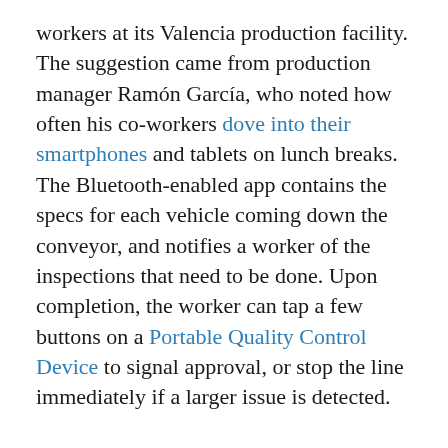workers at its Valencia production facility. The suggestion came from production manager Ramón García, who noted how often his co-workers dove into their smartphones and tablets on lunch breaks. The Bluetooth-enabled app contains the specs for each vehicle coming down the conveyor, and notifies a worker of the inspections that need to be done. Upon completion, the worker can tap a few buttons on a Portable Quality Control Device to signal approval, or stop the line immediately if a larger issue is detected.
During a one-year trial period, Valencia assembly line employees strapped an Android phone to their bodies, then used the PQAD to quicken the steps in ensuring each passing vehicle met corporate standards. Prior to this, workers would walk nearly a mile each day, literally shuffling papers between the line and the computers that kept track of quality control.